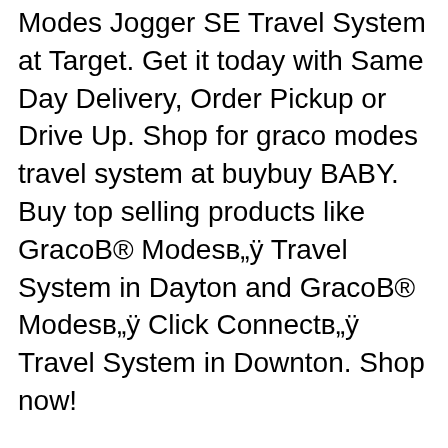Modes Jogger SE Travel System at Target. Get it today with Same Day Delivery, Order Pickup or Drive Up. Shop for graco modes travel system at buybuy BABY. Buy top selling products like GracoB® Modesв„ÿ Travel System in Dayton and GracoB® Modesв„ÿ Click Connectв„ÿ Travel System in Downton. Shop now!
Read reviews and buy the best reversible strollers from top manufacturers including Graco, Evenflo and more . Read reviews and buy the best reversible strollers from top manufacturers including Graco, Evenflo and more. Menu. Verywell Family. The 7 Best Reversible Strollers of 2020. Pin